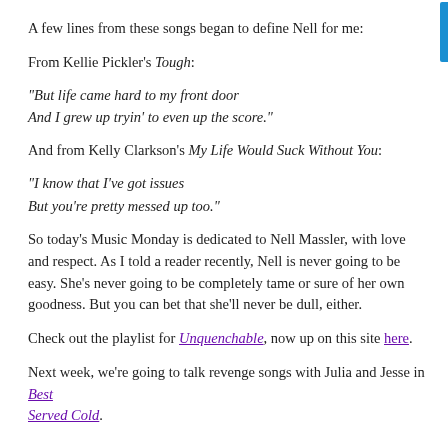A few lines from these songs began to define Nell for me:
From Kellie Pickler's Tough:
“But life came hard to my front door
And I grew up tryin’ to even up the score.”
And from Kelly Clarkson’s My Life Would Suck Without You:
“I know that I’ve got issues
But you’re pretty messed up too.”
So today’s Music Monday is dedicated to Nell Massler, with love and respect. As I told a reader recently, Nell is never going to be easy. She’s never going to be completely tame or sure of her own goodness. But you can bet that she’ll never be dull, either.
Check out the playlist for Unquenchable, now up on this site here.
Next week, we’re going to talk revenge songs with Julia and Jesse in Best Served Cold.